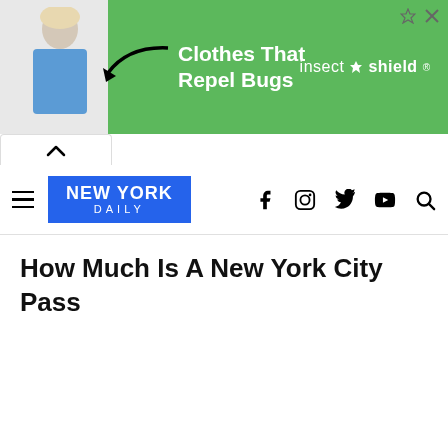[Figure (screenshot): Advertisement banner for Insect Shield showing a woman in blue shirt, arrow pointing to clothing, green background with text 'Clothes That Repel Bugs' and 'insect shield' logo]
NEW YORK DAILY — navigation bar with hamburger menu, logo, and social media icons (Facebook, Instagram, Twitter, YouTube, Search)
How Much Is A New York City Pass